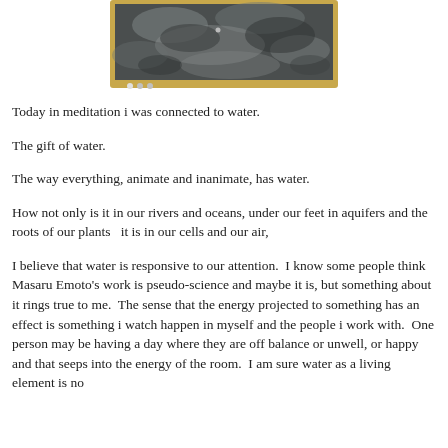[Figure (photo): A framed photograph or slide showing a dark, textured water surface with misty or turbulent patterns, set in a wooden or golden frame. Three small navigation dots appear at the bottom left of the image.]
Today in meditation i was connected to water.
The gift of water.
The way everything, animate and inanimate, has water.
How not only is it in our rivers and oceans, under our feet in aquifers and the roots of our plants  it is in our cells and our air,
I believe that water is responsive to our attention.  I know some people think Masaru Emoto's work is pseudo-science and maybe it is, but something about it rings true to me.  The sense that the energy projected to something has an effect is something i watch happen in myself and the people i work with.  One person may be having a day where they are off balance or unwell, or happy and that seeps into the energy of the room.  I am sure water as a living element is no